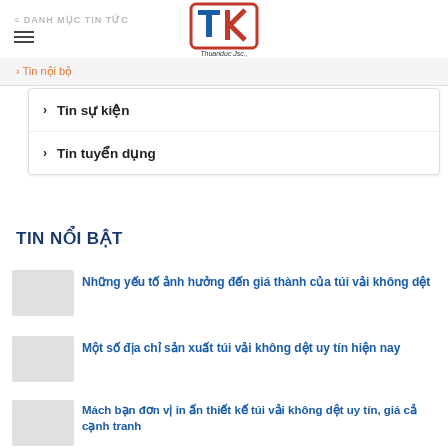DANH MỤC TIN TỨC
[Figure (logo): Thuanduc Jsc. logo — stylized T and K letters in blue and red square border with company name below]
Tin nội bộ
Tin sự kiện
Tin tuyển dụng
TIN NỔI BẬT
Những yếu tố ảnh hưởng đến giá thành của túi vải không dệt
Một số địa chỉ sản xuất túi vải không dệt uy tín hiện nay
Mách bạn đơn vị in ấn thiết kế túi vải không dệt uy tín, giá cả cạnh tranh